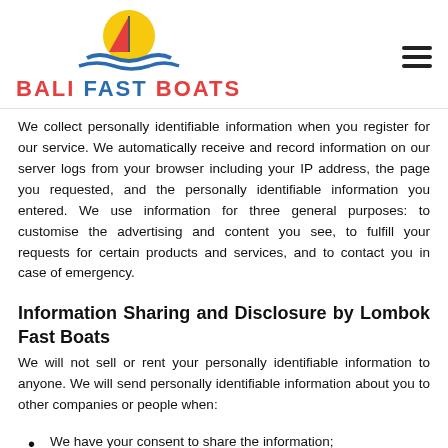BALI FAST BOATS
We collect personally identifiable information when you register for our service. We automatically receive and record information on our server logs from your browser including your IP address, the page you requested, and the personally identifiable information you entered. We use information for three general purposes: to customise the advertising and content you see, to fulfill your requests for certain products and services, and to contact you in case of emergency.
Information Sharing and Disclosure by Lombok Fast Boats
We will not sell or rent your personally identifiable information to anyone. We will send personally identifiable information about you to other companies or people when:
We have your consent to share the information;
We need to share your information to provide the product or service you have requested;
We need to send the information to companies who work on behalf of us